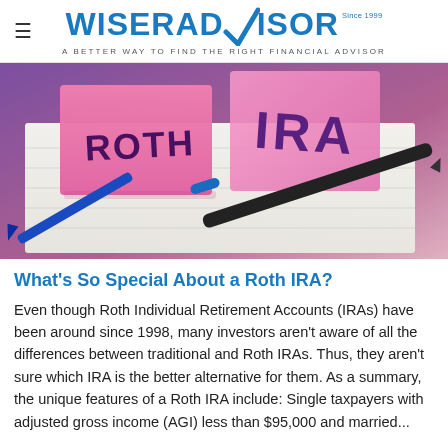WISERADVISOR — A BETTER WAY TO FIND THE RIGHT FINANCIAL ADVISOR
[Figure (photo): Pink sticky notes reading 'ROTH' and 'IRA' on a white notepad with a black and blue pen, purple background]
What's So Special About a Roth IRA?
Even though Roth Individual Retirement Accounts (IRAs) have been around since 1998, many investors aren't aware of all the differences between traditional and Roth IRAs. Thus, they aren't sure which IRA is the better alternative for them. As a summary, the unique features of a Roth IRA include: Single taxpayers with adjusted gross income (AGI) less than $95,000 and married...